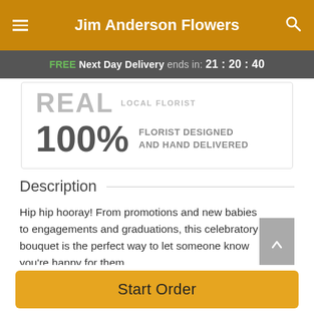Jim Anderson Flowers
FREE Next Day Delivery ends in: 21:20:40
[Figure (infographic): Real local florist badge with 100% Florist Designed and Hand Delivered text]
Description
Hip hip hooray! From promotions and new babies to engagements and graduations, this celebratory bouquet is the perfect way to let someone know you're happy for them.
Start Order